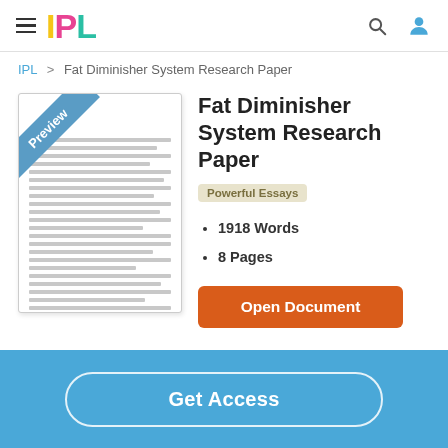IPL
IPL > Fat Diminisher System Research Paper
[Figure (screenshot): Document preview thumbnail with 'Preview' banner in top-left corner and horizontal text lines representing document content]
Fat Diminisher System Research Paper
Powerful Essays
1918 Words
8 Pages
Open Document
Get Access